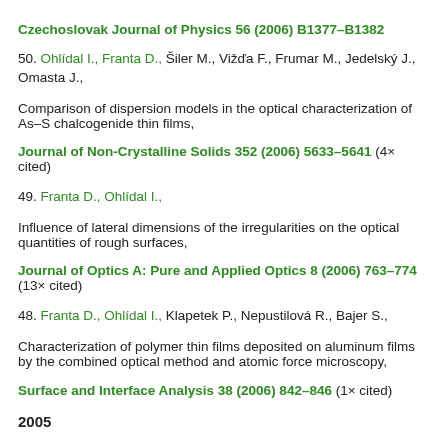Czechoslovak Journal of Physics 56 (2006) B1377–B1382
50. Ohlídal I., Franta D., Šiler M., Vižďa F., Frumar M., Jedelský J., Omasta J., Comparison of dispersion models in the optical characterization of As–S chalcogenide thin films, Journal of Non-Crystalline Solids 352 (2006) 5633–5641 (4× cited)
49. Franta D., Ohlídal I., Influence of lateral dimensions of the irregularities on the optical quantities of rough surfaces, Journal of Optics A: Pure and Applied Optics 8 (2006) 763–774 (13× cited)
48. Franta D., Ohlídal I., Klapetek P., Nepustilová R., Bajer S., Characterization of polymer thin films deposited on aluminum films by the combined optical method and atomic force microscopy, Surface and Interface Analysis 38 (2006) 842–846 (1× cited)
2005